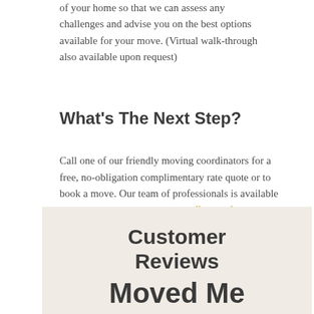of your home so that we can assess any challenges and advise you on the best options available for your move. (Virtual walk-through also available upon request)
What's The Next Step?
Call one of our friendly moving coordinators for a free, no-obligation complimentary rate quote or to book a move. Our team of professionals is available to assist you 24-hours a day! Call us today!
Customer Reviews
Moved Me